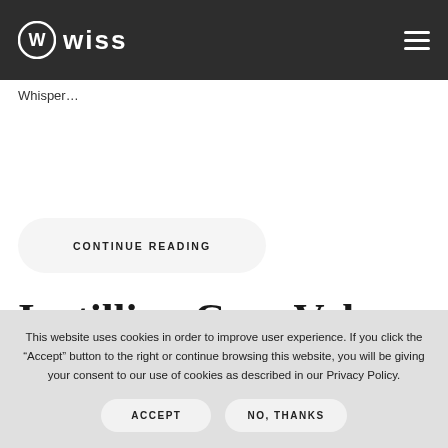Wiss
Whisper…
CONTINUE READING
Instilling Core Values
This website uses cookies in order to improve user experience. If you click the “Accept” button to the right or continue browsing this website, you will be giving your consent to our use of cookies as described in our Privacy Policy.
ACCEPT
NO, THANKS